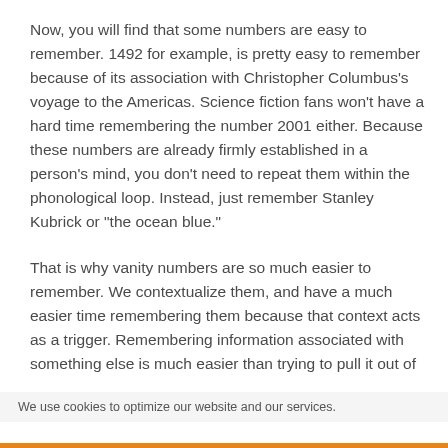Now, you will find that some numbers are easy to remember. 1492 for example, is pretty easy to remember because of its association with Christopher Columbus's voyage to the Americas. Science fiction fans won't have a hard time remembering the number 2001 either. Because these numbers are already firmly established in a person's mind, you don't need to repeat them within the phonological loop. Instead, just remember Stanley Kubrick or "the ocean blue."
That is why vanity numbers are so much easier to remember. We contextualize them, and have a much easier time remembering them because that context acts as a trigger. Remembering information associated with something else is much easier than trying to pull it out of
We use cookies to optimize our website and our services.